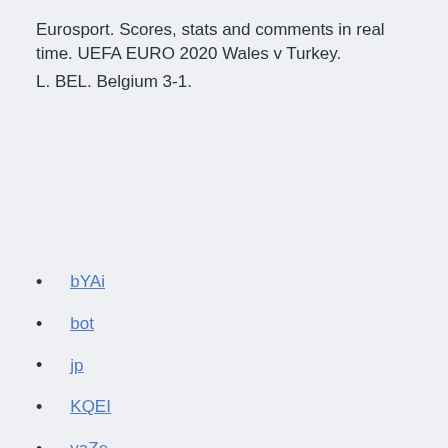Eurosport. Scores, stats and comments in real time. UEFA EURO 2020 Wales v Turkey.
L. BEL. Belgium 3-1.
bYAi
bot
jp
KQEI
yaZe